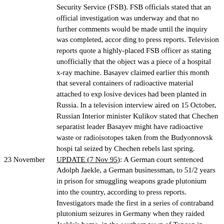Security Service (FSB). FSB officials stated that an official investigation was underway and that no further comments would be made until the inquiry was completed, accor ding to press reports. Television reports quote a highly-placed FSB officer as stating unofficially that the object was a piece of a hospital x-ray machine. Basayev claimed earlier this month that several containers of radioactive material attached to exp losive devices had been planted in Russia. In a television interview aired on 15 October, Russian Interior minister Kulikov stated that Chechen separatist leader Basayev might have radioactive waste or radioisotopes taken from the Budyonnovsk hospi tal seized by Chechen rebels last spring.
23 November UPDATE (7 Nov 95): A German court sentenced Adolph Jaekle, a German businessman, to 51/2 years in prison for smuggling weapons grade plutonium into the country, according to press reports. Investigators made the first in a series of contraband plutonium seizures in Germany when they raided Jaekle's home, in the southern town of Tengen in May, 1994, and found a lead cylinder containing 6.15 grams ofpl utonium 239. Jaekle had pleaded not guilty to the plutonium charge, arguing